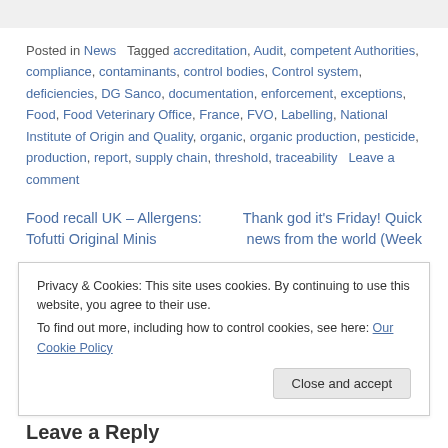Posted in News   Tagged accreditation, Audit, competent Authorities, compliance, contaminants, control bodies, Control system, deficiencies, DG Sanco, documentation, enforcement, exceptions, Food, Food Veterinary Office, France, FVO, Labelling, National Institute of Origin and Quality, organic, organic production, pesticide, production, report, supply chain, threshold, traceability   Leave a comment
Food recall UK – Allergens: Tofutti Original Minis
Thank god it's Friday! Quick news from the world (Week
Privacy & Cookies: This site uses cookies. By continuing to use this website, you agree to their use. To find out more, including how to control cookies, see here: Our Cookie Policy
Close and accept
Leave a Reply